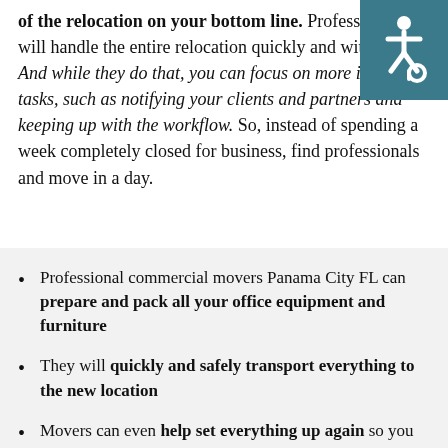of the relocation on your bottom line. Professionals will handle the entire relocation quickly and with care. And while they do that, you can focus on more important tasks, such as notifying your clients and partners and keeping up with the workflow. So, instead of spending a week completely closed for business, find professionals and move in a day.
Professional commercial movers Panama City FL can prepare and pack all your office equipment and furniture
They will quickly and safely transport everything to the new location
Movers can even help set everything up again so you can continue with your work with minimal disruptions
With professionals by your side, your entire relocation will be quick and effortless